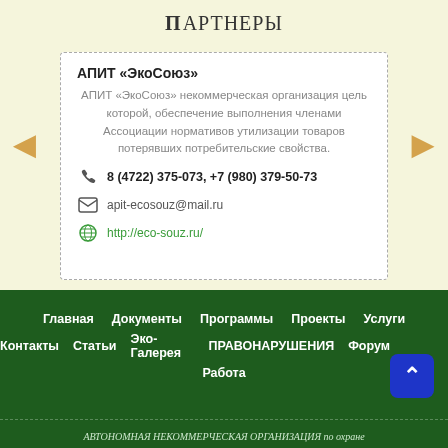Партнеры
АПИТ «ЭкоСоюз»
АПИТ «ЭкоСоюз» некоммерческая организация цель которой, обеспечение выполнения членами Ассоциации нормативов утилизации товаров потерявших потребительские свойства.
8 (4722) 375-073, +7 (980) 379-50-73
apit-ecosouz@mail.ru
http://eco-souz.ru/
Главная   Документы   Программы   Проекты   Услуги   Контакты   Статьи   Эко-Галерея   ПРАВОНАРУШЕНИЯ   Форум   Работа
АВТОНОМНАЯ НЕКОММЕРЧЕСКАЯ ОРГАНИЗАЦИЯ по охране